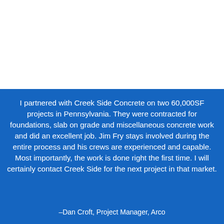I partnered with Creek Side Concrete on two 60,000SF projects in Pennsylvania. They were contracted for foundations, slab on grade and miscellaneous concrete work and did an excellent job. Jim Fry stays involved during the entire process and his crews are experienced and capable. Most importantly, the work is done right the first time. I will certainly contact Creek Side for the next project in that market.
–Dan Croft, Project Manager, Arco